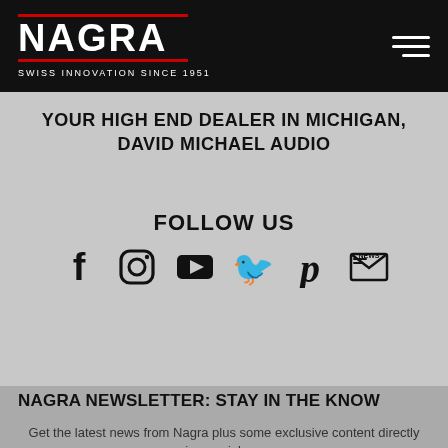NAGRA — SWISS INNOVATION SINCE 1951
YOUR HIGH END DEALER IN MICHIGAN, DAVID MICHAEL AUDIO
FOLLOW US
[Figure (infographic): Social media icons: Facebook, Instagram, YouTube, Twitter, Pinterest, Newsletter/Email]
NAGRA NEWSLETTER: STAY IN THE KNOW
Get the latest news from Nagra plus some exclusive content directly in your inbox.